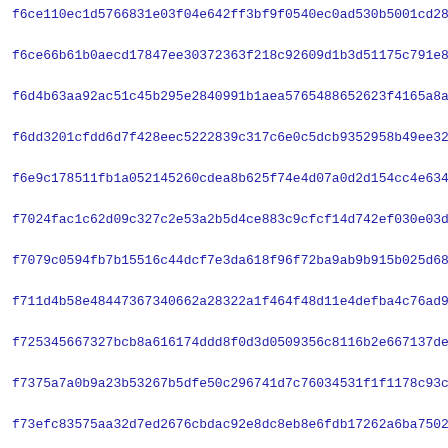f6ce110ec1d5766831e03f04e642ff3bf9f0540ec0ad530b5001cd28997fb
f6ce66b61b0aecd17847ee30372363f218c92609d1b3d51175c791e8774fb
f6d4b63aa92ac51c45b295e2840991b1aea5765488652623f4165a8af70ef
f6dd3201cfdd6d7f428eec5222839c317c6e0c5dcb9352958b49ee32c2f08
f6e9c178511fb1a052145260cdea8b625f74e4d07a0d2d154cc4e6349360e
f7024fac1c62d09c327c2e53a2b5d4ce883c9cfcf14d742ef030e03d87b01
f7079c0594fb7b15516c44dcf7e3da618f96f72ba9ab9b915b025d68ae211
f711d4b58e48447367340662a28322a1f464f48d11e4defba4c76ad9d1771
f725345667327bcb8a616174ddd8f0d3d0509356c8116b2e667137de11ab0
f7375a7a0b9a23b53267b5dfe50c296741d7c76034531f1f1178c93c3ab42
f73efc83575aa32d7ed2676cbdac92e8dc8eb8e6fdb17262a6ba7502cabf0